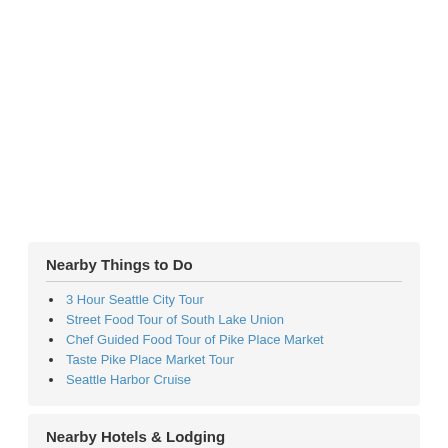Nearby Things to Do
3 Hour Seattle City Tour
Street Food Tour of South Lake Union
Chef Guided Food Tour of Pike Place Market
Taste Pike Place Market Tour
Seattle Harbor Cruise
Nearby Hotels & Lodging